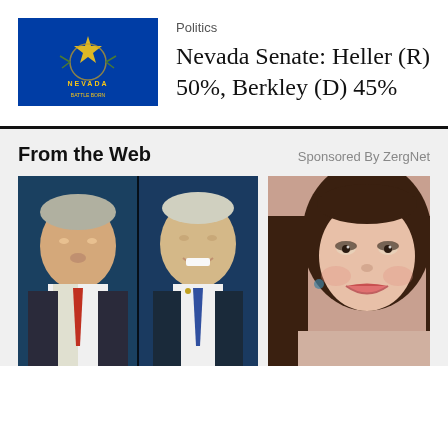[Figure (photo): Nevada state flag — blue background with state seal and star]
Politics
Nevada Senate: Heller (R) 50%, Berkley (D) 45%
From the Web
Sponsored By ZergNet
[Figure (photo): Two men side by side at a debate — one older man with red tie on left, Joe Biden smiling on right]
[Figure (photo): Woman with long dark hair smiling, wearing glamorous makeup]